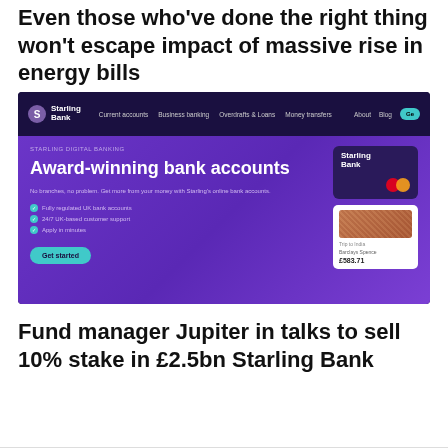Even those who've done the right thing won't escape impact of massive rise in energy bills
[Figure (screenshot): Starling Bank website homepage screenshot showing navigation bar with 'Current accounts', 'Business banking', 'Overdrafts & Loans', 'Money transfers', 'About', 'Blog' links, and a purple hero banner with 'STARLING DIGITAL BANKING', 'Award-winning bank accounts' headline, description text, bullet points for 'Fully regulated UK bank accounts', '24/7 UK-based customer support', 'Apply in minutes', a 'Get started' button, and a Starling Bank card mockup with Mastercard logo and a transaction showing £583.71.]
Fund manager Jupiter in talks to sell 10% stake in £2.5bn Starling Bank